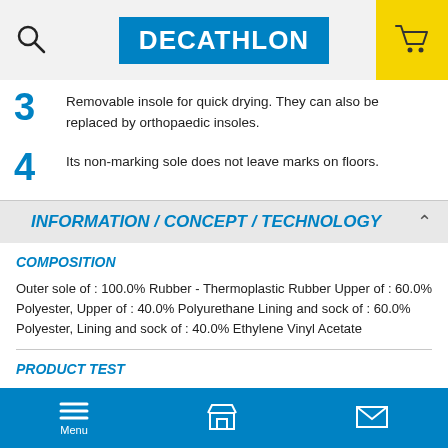Decathlon header with search, logo, and cart icons
3 Removable insole for quick drying. They can also be replaced by orthopaedic insoles.
4 Its non-marking sole does not leave marks on floors.
INFORMATION / CONCEPT / TECHNOLOGY
COMPOSITION
Outer sole of : 100.0% Rubber - Thermoplastic Rubber Upper of : 60.0% Polyester, Upper of : 40.0% Polyurethane Lining and sock of : 60.0% Polyester, Lining and sock of : 40.0% Ethylene Vinyl Acetate
PRODUCT TEST
Our testing engineers, Marine and Léo have all our products tested by a
Menu | Store | Mail